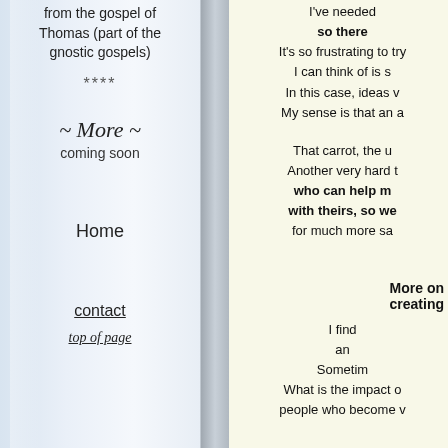from the gospel of Thomas (part of the gnostic gospels)
****
~ More ~ coming soon
Home
contact
top of page
I've needed so there It's so frustrating to try I can think of is s In this case, ideas v My sense is that an a
That carrot, the u Another very hard t who can help m with theirs, so we for much more sa
More on creating
I find an Sometim What is the impact o people who become v
Something else on s I remember when my father saying